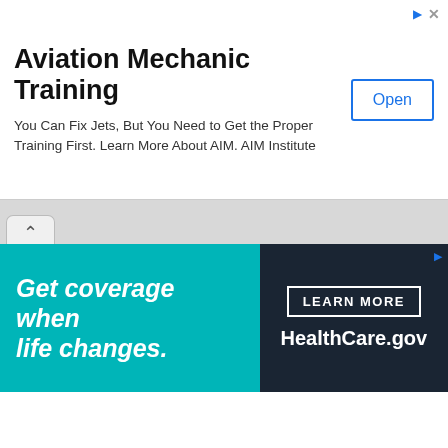[Figure (screenshot): Top advertisement banner for Aviation Mechanic Training with 'Open' button]
[Figure (screenshot): Browser tab row with back chevron navigation tab]
[Figure (screenshot): HealthCare.gov banner ad: 'Get coverage when life changes. LEARN MORE HealthCare.gov']
Popular Posts
;
Selepas menonton The Devil Wears Prada bersama kekasih di Starbucks Ikano semalam, memanglah membuak-buak rasa nak pergi membeli-belah kan. ...
REVIEW: Chloe Paraty Bag
The Chloe Paraty is 2010's IT bag. The Chloe Paraty has been featured in many of Chloe's ads, and is one of Chloe's most popular handbags. ...
Archive
► 2014 (5)
► 2013 (9)
► 2012 (1)
▼ 2011 (1)
► Oct 2
► Aug 2
► Jul 20
► Jun 2